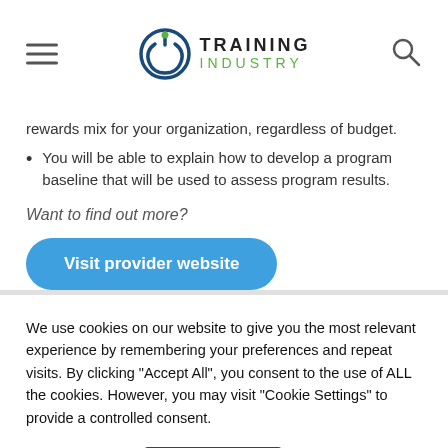Training Industry
rewards mix for your organization, regardless of budget.
You will be able to explain how to develop a program baseline that will be used to assess program results.
Want to find out more?
Visit provider website
We use cookies on our website to give you the most relevant experience by remembering your preferences and repeat visits. By clicking “Accept All”, you consent to the use of ALL the cookies. However, you may visit “Cookie Settings” to provide a controlled consent.
Cookie Settings
Accept All